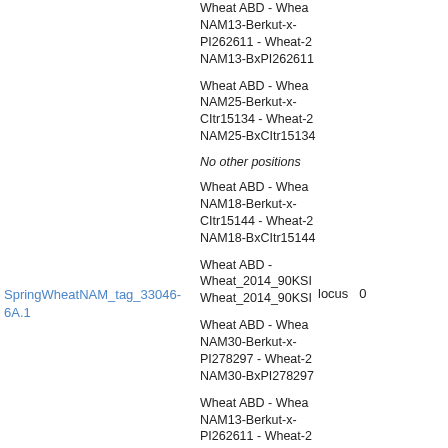Wheat ABD - Wheat NAM13-Berkut-x-PI262611 - Wheat-2 NAM13-BxPI262611
Wheat ABD - Wheat NAM25-Berkut-x-CItr15134 - Wheat-2 NAM25-BxCItr15134
SpringWheatNAM_tag_33046-6A.1   locus   0
No other positions
Wheat ABD - Wheat NAM18-Berkut-x-CItr15144 - Wheat-2 NAM18-BxCItr15144
Wheat ABD - Wheat_2014_90KSI Wheat_2014_90KSI
Wheat ABD - Wheat NAM30-Berkut-x-PI278297 - Wheat-2 NAM30-BxPI278297
Wheat ABD - Wheat NAM13-Berkut-x-PI262611 - Wheat-2 NAM13-BxPI262611
Wheat ABD - Wheat